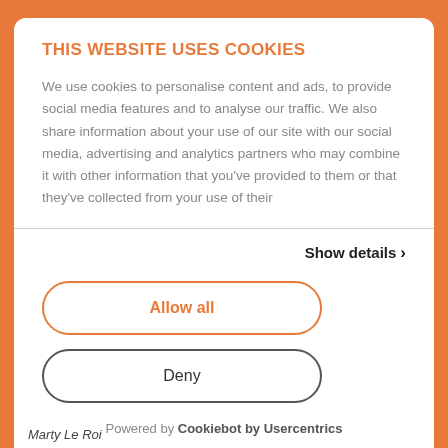THIS WEBSITE USES COOKIES
We use cookies to personalise content and ads, to provide social media features and to analyse our traffic. We also share information about your use of our site with our social media, advertising and analytics partners who may combine it with other information that you've provided to them or that they've collected from your use of their
Show details ›
Allow all
Deny
Powered by Cookiebot by Usercentrics
Marty Le Roi